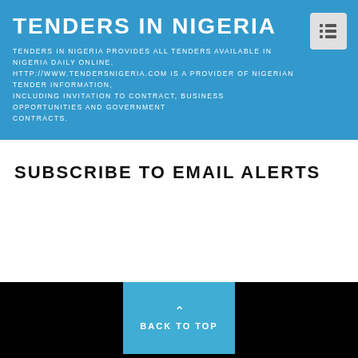TENDERS IN NIGERIA
TENDERS IN NIGERIA PROVIDES ALL TENDERS AVAILABLE IN NIGERIA DAILY ONLINE. HTTP://WWW.TENDERSNIGERIA.COM IS A PROVIDER OF NIGERIAN TENDER INFORMATION, INCLUDING INVITATION TO CONTRACT, BUSINESS OPPORTUNITIES AND GOVERNMENT CONTRACTS.
SUBSCRIBE TO EMAIL ALERTS
BACK TO TOP